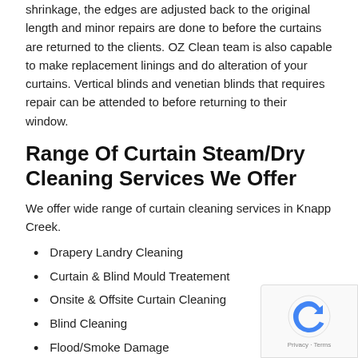shrinkage, the edges are adjusted back to the original length and minor repairs are done to before the curtains are returned to the clients. OZ Clean team is also capable to make replacement linings and do alteration of your curtains. Vertical blinds and venetian blinds that requires repair can be attended to before returning to their window.
Range Of Curtain Steam/Dry Cleaning Services We Offer
We offer wide range of curtain cleaning services in Knapp Creek.
Drapery Landry Cleaning
Curtain & Blind Mould Treatement
Onsite & Offsite Curtain Cleaning
Blind Cleaning
Flood/Smoke Damage
Venetion Blind Cleaning